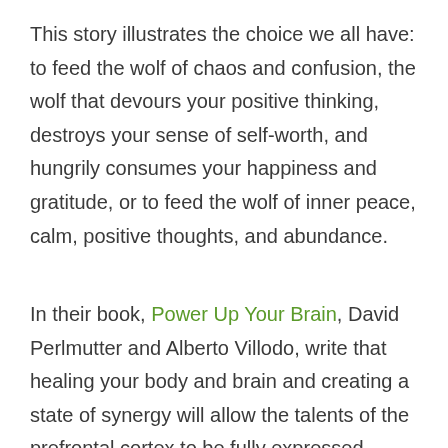This story illustrates the choice we all have: to feed the wolf of chaos and confusion, the wolf that devours your positive thinking, destroys your sense of self-worth, and hungrily consumes your happiness and gratitude, or to feed the wolf of inner peace, calm, positive thoughts, and abundance.
In their book, Power Up Your Brain, David Perlmutter and Alberto Villodo, write that healing your body and brain and creating a state of synergy will allow the talents of the prefrontal cortex to be fully expressed...